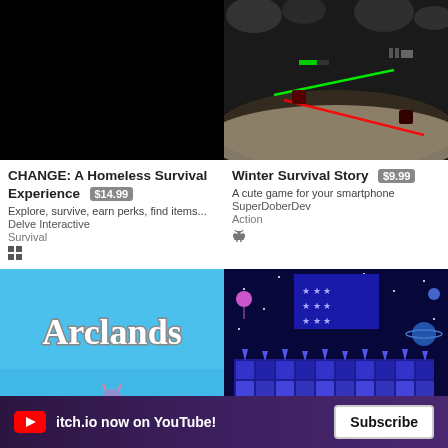[Figure (screenshot): Black game screenshot for CHANGE: A Homeless Survival Experience]
[Figure (screenshot): Game screenshot for Winter Survival Story showing robot/character with laser beams in dark snowy environment]
CHANGE: A Homeless Survival Experience $14.99
Explore, survive, earn perks, find items...
Delve Interactive
Survival
[Windows icon]
Winter Survival Story $9.99
A cute game for your smartphone
SuperDoberDev
Action
[Android icon]
[Figure (screenshot): Arclands game title screen with blue sky background and small character]
[Figure (screenshot): Pixel art space/platform game with blue blocks and stars]
itch.io now on YouTube! Subscribe